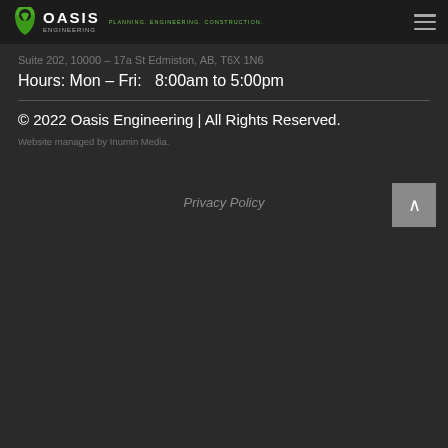[Figure (logo): Oasis Engineering logo with green shield icon, company name in white, tagline PLANNING. ENGINEERING. CONSTRUCTION. in green]
Suite 202, 10000 – 17a St Edmiston, AB, T6X 1N6
Hours: Mon – Fri:   8:00am to 5:00pm
© 2022 Oasis Engineering | All Rights Reserved.
Website managed by Inumin Media.
Privacy Policy